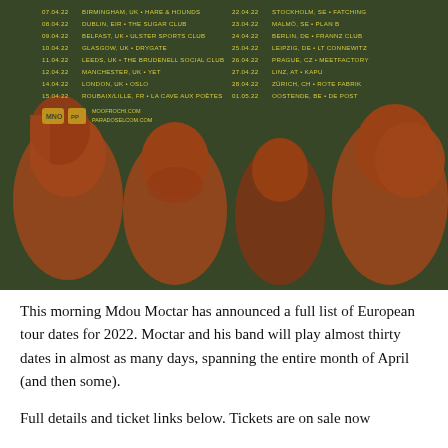[Figure (illustration): Concert tour poster on dark olive-green background with orange-tinted illustration of four band members. Two columns of tour dates listed at top in yellow text: Left column: 07.04.22 Birmingham, UK • Hare & Hounds; 08.04.22 Dublin, EIR • The Sugar Club; 09.04.22 Belfast, UK • Ulster Sports Club; 10.04.22 Glasgow, UK • Drygate; 11.04.22 Leeds, UK • The Brudenell Social Club; 12.04.22 Manchester, UK • YET; 14.04.22 London, UK • Oslo; 15.04.22 Roubaix/Lille, FR • La Cave Aux Poètes. Right column: 22.04.22 Stockholm, SE • Fatching; 23.04.22 Malmö, SE • Plan B; 24.04.22 Berlin, DE • Frannz Club; 25.04.22 Leipzig, DE • LT Connewitz; 26.04.22 Prague, CZ • Meetfactory; 27.04.22 Linz, AT • Kapu; 28.04.22 Zürich, CH • Rote Fabrik; 01.05.22 Oostende, BE • De Post. Logos and website URLs at bottom left of text area.]
This morning Mdou Moctar has announced a full list of European tour dates for 2022. Moctar and his band will play almost thirty dates in almost as many days, spanning the entire month of April (and then some).
Full details and ticket links below. Tickets are on sale now